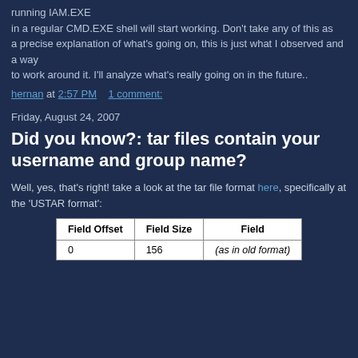running IAM.EXE in a regular CMD.EXE shell will start working. Don't take any of this as a precise explanation of what's going on, this is just what I observed and a way to work around it. I'll analyze what's really going on in the future..
hernan at 2:57 PM    1 comment:
Friday, August 24, 2007
Did you know?: tar files contain your username and group name?
Well, yes, that's right! take a look at the tar file format here, specifically at the 'USTAR format':
| Field Offset | Field Size | Field |
| --- | --- | --- |
| 0 | 156 | (as in old format) |